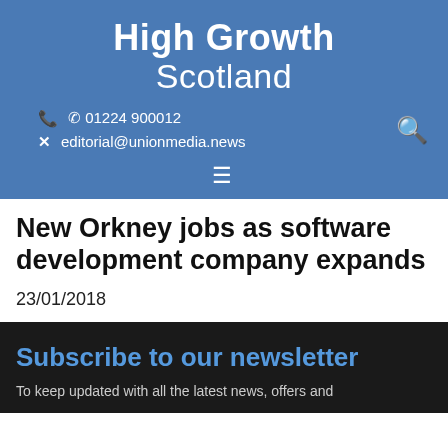High Growth Scotland
01224 900012
editorial@unionmedia.news
New Orkney jobs as software development company expands
23/01/2018
Subscribe to our newsletter
To keep updated with all the latest news...